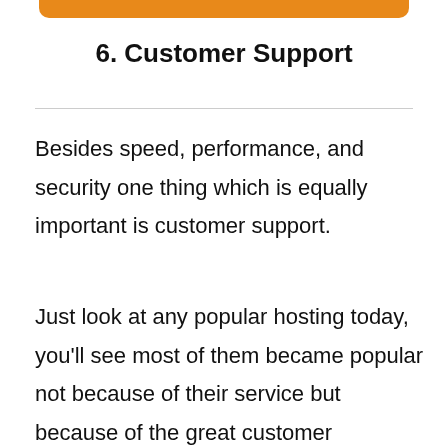6. Customer Support
Besides speed, performance, and security one thing which is equally important is customer support.
Just look at any popular hosting today, you'll see most of them became popular not because of their service but because of the great customer